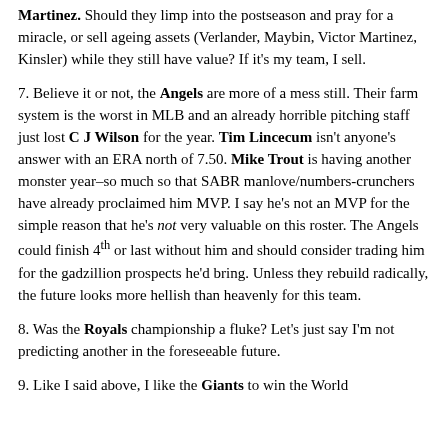Martinez. Should they limp into the postseason and pray for a miracle, or sell ageing assets (Verlander, Maybin, Victor Martinez, Kinsler) while they still have value? If it's my team, I sell.
7. Believe it or not, the Angels are more of a mess still. Their farm system is the worst in MLB and an already horrible pitching staff just lost C J Wilson for the year. Tim Lincecum isn't anyone's answer with an ERA north of 7.50. Mike Trout is having another monster year–so much so that SABR manlove/numbers-crunchers have already proclaimed him MVP. I say he's not an MVP for the simple reason that he's not very valuable on this roster. The Angels could finish 4th or last without him and should consider trading him for the gadzillion prospects he'd bring. Unless they rebuild radically, the future looks more hellish than heavenly for this team.
8. Was the Royals championship a fluke? Let's just say I'm not predicting another in the foreseeable future.
9. Like I said above, I like the Giants to win the World